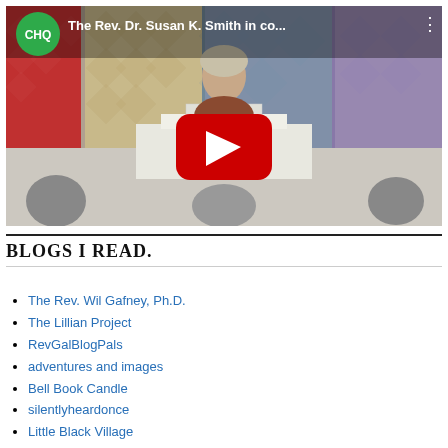[Figure (screenshot): YouTube video thumbnail showing The Rev. Dr. Susan K. Smith speaking at a Chautauqua podium, with a red play button overlay, CHQ green circle logo in top left, and video title 'The Rev. Dr. Susan K. Smith in co...' in the title bar.]
BLOGS I READ.
The Rev. Wil Gafney, Ph.D.
The Lillian Project
RevGalBlogPals
adventures and images
Bell Book Candle
silentlyheardonce
Little Black Village